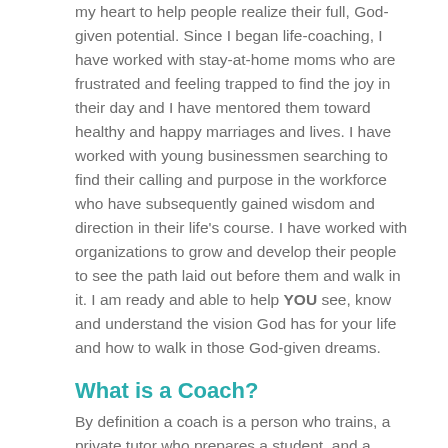my heart to help people realize their full, God-given potential. Since I began life-coaching, I have worked with stay-at-home moms who are frustrated and feeling trapped to find the joy in their day and I have mentored them toward healthy and happy marriages and lives. I have worked with young businessmen searching to find their calling and purpose in the workforce who have subsequently gained wisdom and direction in their life's course. I have worked with organizations to grow and develop their people to see the path laid out before them and walk in it. I am ready and able to help YOU see, know and understand the vision God has for your life and how to walk in those God-given dreams.
What is a Coach?
By definition a coach is a person who trains, a private tutor who prepares a student, and a person who teaches and instructs. A mentor is a wise and trusted counsellor, teacher, or an influential confidante who